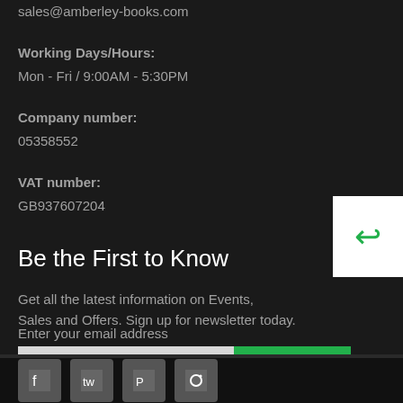sales@amberley-books.com
Working Days/Hours:
Mon - Fri / 9:00AM - 5:30PM
Company number:
05358552
VAT number:
GB937607204
Be the First to Know
Get all the latest information on Events, Sales and Offers. Sign up for newsletter today.
Enter your email address